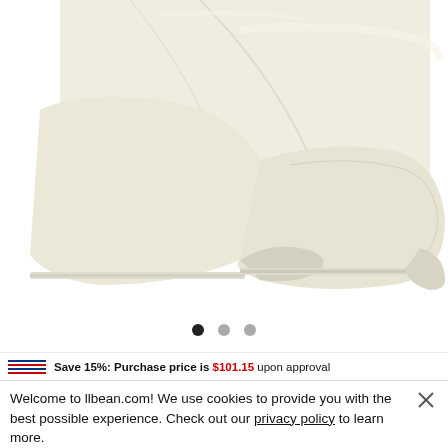[Figure (photo): Close-up product photo of a folded cream/off-white fleece blanket with stitched edges on a white background]
• • •  (image carousel dots, first filled)
Save 15%: Purchase price is $101.15 upon approval
Welcome to llbean.com! We use cookies to provide you with the best possible experience. Check out our privacy policy to learn more.